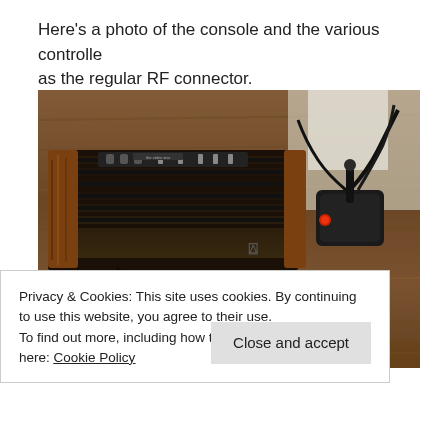Here's a photo of the console and the various controllers as the regular RF connector.
[Figure (photo): Photo of an Atari 2600 console with wood grain paneling and black ridged top, a joystick controller, cables, and other accessories laid out on a wooden surface.]
Privacy & Cookies: This site uses cookies. By continuing to use this website, you agree to their use.
To find out more, including how to control cookies, see here: Cookie Policy
Close and accept